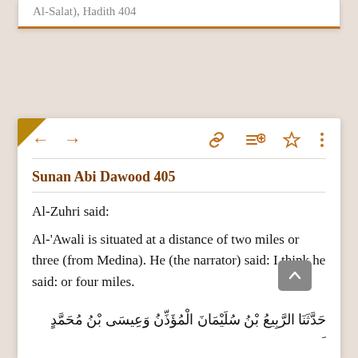Al-Salat), Hadith 404
Sunan Abi Dawood 405
Al-Zuhri said:
Al-'Awali is situated at a distance of two miles or three (from Medina). He (the narrator) said: I think he said: or four miles.
[Figure (other): Arabic text of the hadith at bottom of card]